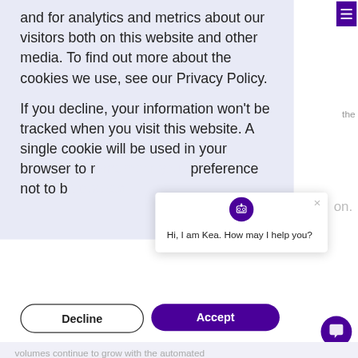and for analytics and metrics about our visitors both on this website and other media. To find out more about the cookies we use, see our Privacy Policy.
If you decline, your information won't be tracked when you visit this website. A single cookie will be used in your browser to remember your preference not to be tracked.
[Figure (screenshot): Chatbot popup with robot avatar icon, close (X) button, and message: 'Hi, I am Kea. How may I help you?']
Decline
Accept
volumes continue to grow with the automated